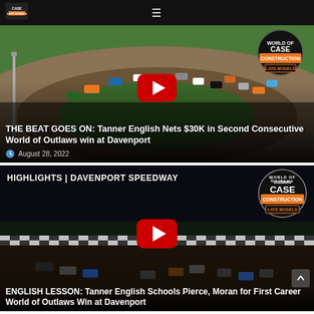CASE Construction Late Models — navigation bar
[Figure (screenshot): Video thumbnail showing aerial view of dirt track racing cars on a circuit, with CASE Construction Late Models badge in top right. YouTube play button overlay in center.]
THE BEAT GOES ON: Tanner English Nets $30K in Second Consecutive World of Outlaws win at Davenport
August 28, 2022
[Figure (screenshot): Video thumbnail showing night-time dirt track racing at Davenport Speedway with 'HIGHLIGHTS | DAVENPORT SPEEDWAY' text overlay, World of Outlaws CASE Construction Late Models badge, and YouTube play button.]
ENGLISH LESSON: Tanner English Schools Pierce, Moran for First Career World of Outlaws Win at Davenport